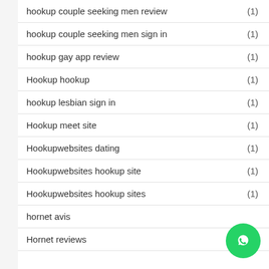hookup couple seeking men review (1)
hookup couple seeking men sign in (1)
hookup gay app review (1)
Hookup hookup (1)
hookup lesbian sign in (1)
Hookup meet site (1)
Hookupwebsites dating (1)
Hookupwebsites hookup site (1)
Hookupwebsites hookup sites (1)
hornet avis
Hornet reviews (1)
[Figure (logo): WhatsApp green circular button with phone handset icon]